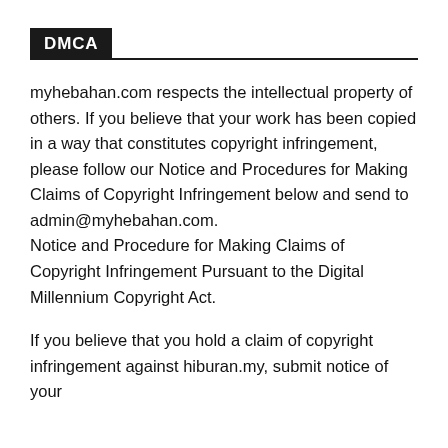DMCA
myhebahan.com respects the intellectual property of others. If you believe that your work has been copied in a way that constitutes copyright infringement, please follow our Notice and Procedures for Making Claims of Copyright Infringement below and send to admin@myhebahan.com.
Notice and Procedure for Making Claims of Copyright Infringement Pursuant to the Digital Millennium Copyright Act.
If you believe that you hold a claim of copyright infringement against hiburan.my, submit notice of your